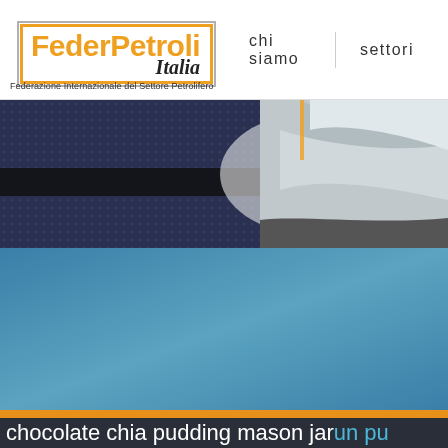[Figure (logo): FederPetroli Italia logo with orange border box, yellow/orange 'FederPetroli' text and italic 'Italia' subtitle]
Federazione Internazionale del Settore Petrolifero
chi siamo
settori
[Figure (photo): Banner image showing industrial metallic pipes/cylinders on a dark blue dotted/halftone background]
[Figure (photo): Blue gradient background area, main content section]
chocolate chia pudding mason jar un pu